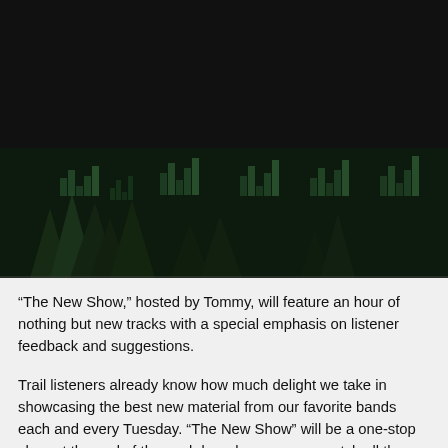[Figure (photo): Dark black/near-black area at top of page, appears to be a video or image player with a black background.]
[Figure (photo): A dark banner image with a music visualizer/equalizer graphic overlaid on a forest background with evergreen trees, shown in dark green tones.]
“The New Show,” hosted by Tommy, will feature an hour of nothing but new tracks with a special emphasis on listener feedback and suggestions.
Trail listeners already know how much delight we take in showcasing the best new material from our favorite bands each and every Tuesday. “The New Show” will be a one-stop shop at the end of the workday where you can catch all the new tracks we